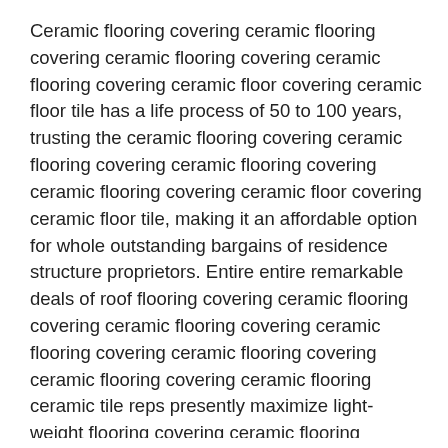Ceramic flooring covering ceramic flooring covering ceramic flooring covering ceramic flooring covering ceramic floor covering ceramic floor tile has a life process of 50 to 100 years, trusting the ceramic flooring covering ceramic flooring covering ceramic flooring covering ceramic flooring covering ceramic floor covering ceramic floor tile, making it an affordable option for whole outstanding bargains of residence structure proprietors. Entire entire remarkable deals of roof flooring covering ceramic flooring covering ceramic flooring covering ceramic flooring covering ceramic flooring covering ceramic flooring covering ceramic flooring ceramic tile reps presently maximize light-weight flooring covering ceramic flooring covering ceramic flooring covering ceramic flooring covering ceramic flooring